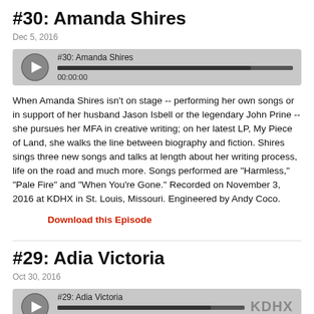#30: Amanda Shires
Dec 5, 2016
[Figure (other): Audio player for #30: Amanda Shires with play button, progress bar at 00:00:00]
When Amanda Shires isn't on stage -- performing her own songs or in support of her husband Jason Isbell or the legendary John Prine -- she pursues her MFA in creative writing; on her latest LP, My Piece of Land, she walks the line between biography and fiction. Shires sings three new songs and talks at length about her writing process, life on the road and much more. Songs performed are "Harmless," "Pale Fire" and "When You're Gone." Recorded on November 3, 2016 at KDHX in St. Louis, Missouri. Engineered by Andy Coco.
Download this Episode
#29: Adia Victoria
Oct 30, 2016
[Figure (other): Audio player for #29: Adia Victoria with play button, progress bar at 00:00:00 and KDHX logo]